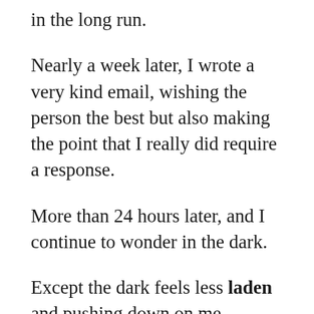in the long run.
Nearly a week later, I wrote a very kind email, wishing the person the best but also making the point that I really did require a response.
More than 24 hours later, and I continue to wonder in the dark.
Except the dark feels less laden and pushing down on me overbearing/bearing down.
Where has the change come from?